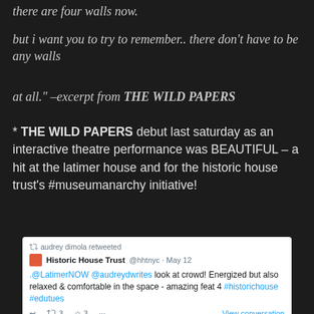there are four walls now.
but i want you to try to remember.. there don't have to be any walls
at all." –excerpt from THE WILD PAPERS
* THE WILD PAPERS debut last saturday as an interactive theatre performance was BEAUTIFUL – a hit at the latimer house and for the historic house trust's #museumanarchy initiative!
[Figure (screenshot): Tweet screenshot: audrey dimola retweeted. Historic House Trust @hhtnyc · May 12. .@LatimerNOW @audreydwrites look at crowd! Energized but also relaxed & comfortable in the space - amazing feat 4 #historichouse #edutues. 3 retweets, 3 likes. View conversation.]